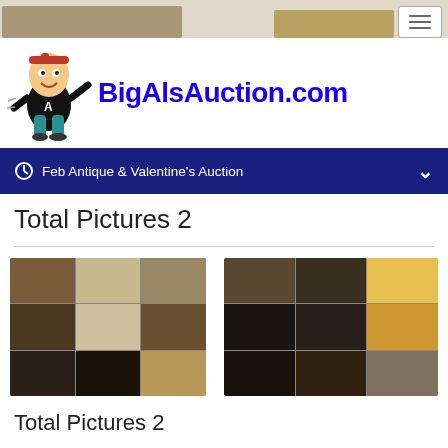[Figure (logo): BigAlsAuction.com logo with cartoon mascot character running and site name in blue bold text]
Feb Antique & Valentine's Auction
Total Pictures 2
[Figure (photo): Collage of antique items including furniture, guitar, clothing, pottery, jewelry and decorative items]
[Figure (photo): Collage of antique items including vinyl records, cast iron pans, various tools and collectibles]
Total Pictures 2